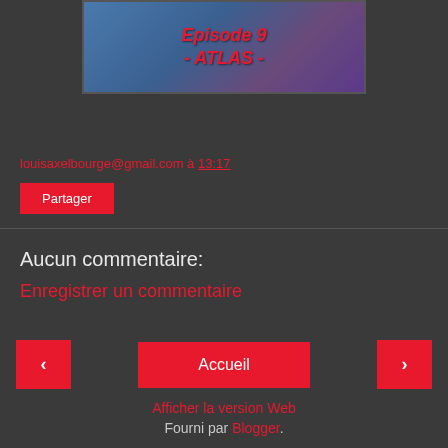[Figure (illustration): Blue-purple gradient image with red italic bold text reading 'Episode 9 - ATLAS -']
louisaxelbourge@gmail.com à 13:17
Partager
Aucun commentaire:
Enregistrer un commentaire
‹
Accueil
›
Afficher la version Web
Fourni par Blogger.